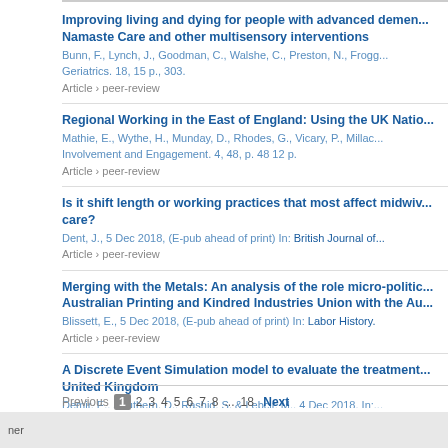Improving living and dying for people with advanced demen... Namaste Care and other multisensory interventions
Bunn, F., Lynch, J., Goodman, C., Walshe, C., Preston, N., Frogg...
Geriatrics. 18, 15 p., 303.
Article › peer-review
Regional Working in the East of England: Using the UK Natio...
Mathie, E., Wythe, H., Munday, D., Rhodes, G., Vicary, P., Millac...
Involvement and Engagement. 4, 48, p. 48 12 p.
Article › peer-review
Is it shift length or working practices that most affect midwiv... care?
Dent, J., 5 Dec 2018, (E-pub ahead of print) In: British Journal of...
Article › peer-review
Merging with the Metals: An analysis of the role micro-politic... Australian Printing and Kindred Industries Union with the Au...
Blissett, E., 5 Dec 2018, (E-pub ahead of print) In: Labor History.
Article › peer-review
A Discrete Event Simulation model to evaluate the treatment... United Kingdom
Demir, E., Southern, D., Rashid, S. & Lebcir, M., 4 Dec 2018, In:...
Article › peer-review
De novo assembly of the Pasteuria penetrans genome revea... BcIA-like collagens
Orr, J., Mauchline, T. H., Cock, P., Blok, V. & Davies, K., 4 Dec 20...
Previous 1 2 3 4 5 6 7 8 ... 18 Next
ner